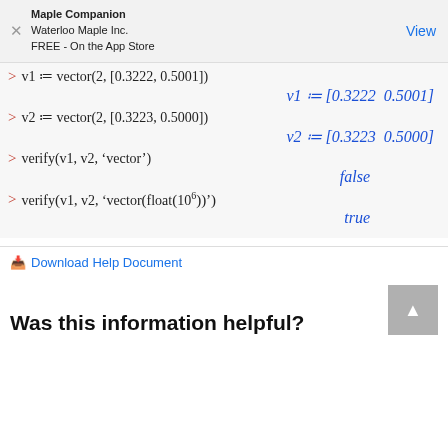Maple Companion / Waterloo Maple Inc. / FREE - On the App Store / View
Download Help Document
Was this information helpful?